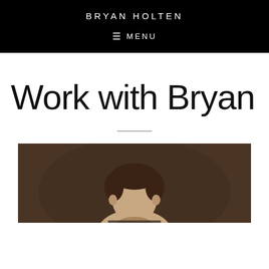BRYAN HOLTEN
≡ MENU
Work with Bryan
[Figure (photo): Portrait photo of Bryan Holten, a person with dark hair visible from shoulders up against a dark brown background]